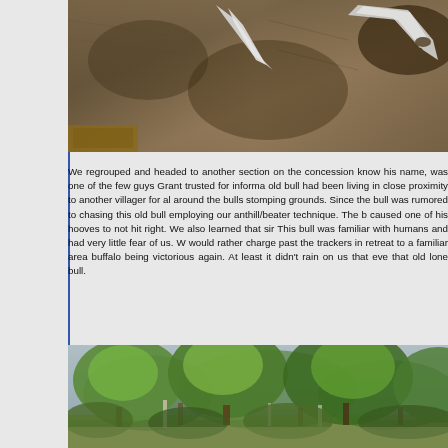[Figure (photo): Close-up photo of what appears to be animal hide/fur with white horn or bone fragments visible, taken from above]
We regrouped and headed to another section on the concession know his name, was one of the few guys Grant trusted for informa old bull had been living in close proximity to another villager for a around the bulls stomping grounds. Since the bull was rumored to chasing this old bull employing our anthill/beater technique. The b caused one of his hooves to not hit right. We also learned that sin This bull was familiar with humans and had very little fear of us. W would rather charge past the trackers in retreat to a familiar area buffalo being victorious again. At least it didn't rain on us that eve that old lone bull.
[Figure (photo): Outdoor landscape photograph showing dense woodland/bush with green leafy trees and shrubs, open grassy area visible in the background]